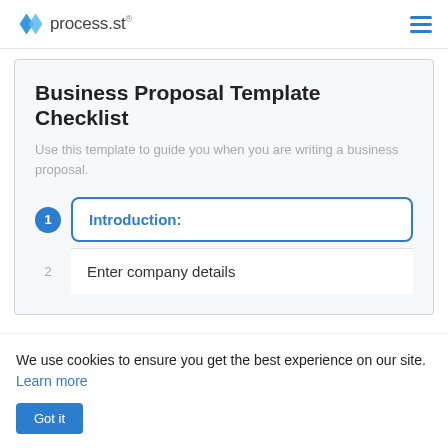process.st
Business Proposal Template Checklist
Use this template to guide you when you are writing a business proposal.
Introduction:
2  Enter company details
We use cookies to ensure you get the best experience on our site. Learn more
Got it